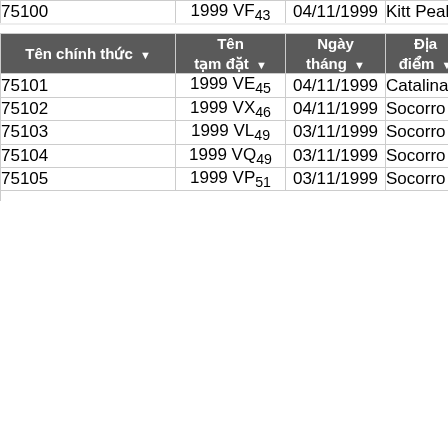| Tên chính thức | Tên tạm đặt | Ngày tháng | Địa điểm | K p |
| --- | --- | --- | --- | --- |
| 75100 | 1999 VF43 | 04/11/1999 | Kitt Peak |  |
| 75101 | 1999 VE45 | 04/11/1999 | Catalina | CS |
| 75102 | 1999 VX46 | 04/11/1999 | Socorro | LIN |
| 75103 | 1999 VL49 | 03/11/1999 | Socorro | LIN |
| 75104 | 1999 VQ49 | 03/11/1999 | Socorro | LIN |
| 75105 | 1999 VP51 | 03/11/1999 | Socorro | LIN |